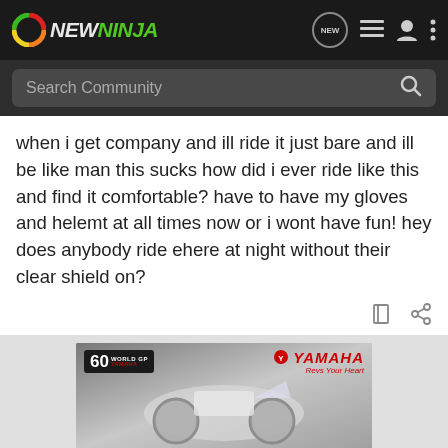NEWNINJA — Search Community
when i get company and ill ride it just bare and ill be like man this sucks how did i ever ride like this and find it comfortable? have to have my gloves and helemt at all times now or i wont have fun! hey does anybody ride ehere at night without their clear shield on?
[Figure (photo): Yamaha World GP 60 motorcycle advertisement showing a sport motorcycle in black and white with Yamaha branding and 'Revs Your Heart' tagline]
[Figure (photo): Suzuki GSX-S1000 GT advertisement with Suzuki logo on white background left side and blue panel on right showing GSX-S1000 GT text and 'See It Now' call to action]